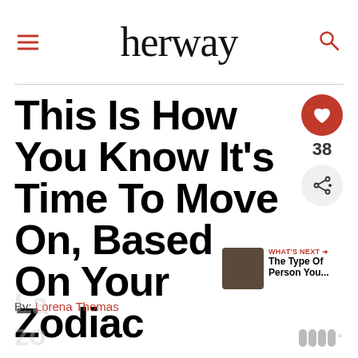herway
This Is How You Know It’s Time To Move On, Based On Your Zodiac
By: Lorena Thomas